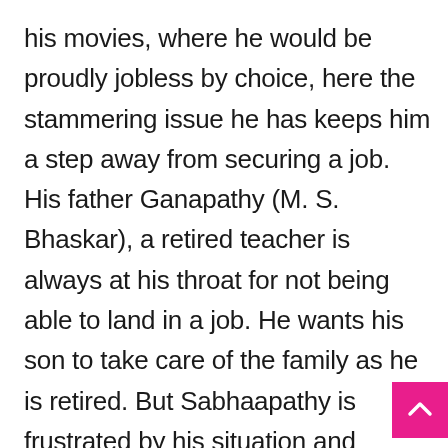his movies, where he would be proudly jobless by choice, here the stammering issue he has keeps him a step away from securing a job. His father Ganapathy (M. S. Bhaskar), a retired teacher is always at his throat for not being able to land in a job. He wants his son to take care of the family as he is retired. But Sabhaapathy is frustrated by his situation and spends most of his time hanging out with his friend Ramani (Pugazh). He is unemployed, comes around with his friend, yet he has his love track going right on track. Come on, how come a jobless Tamil hero be without a love affair? Is not that the only qualification in Tamil cinema for being in love? He is in love with